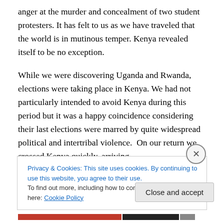anger at the murder and concealment of two student protesters. It has felt to us as we have traveled that the world is in mutinous temper. Kenya revealed itself to be no exception.
While we were discovering Uganda and Rwanda, elections were taking place in Kenya. We had not particularly intended to avoid Kenya during this period but it was a happy coincidence considering their last elections were marred by quite widespread political and intertribal violence.  On our return we crossed Kenya quickly, arriving
Privacy & Cookies: This site uses cookies. By continuing to use this website, you agree to their use.
To find out more, including how to control cookies, see here: Cookie Policy